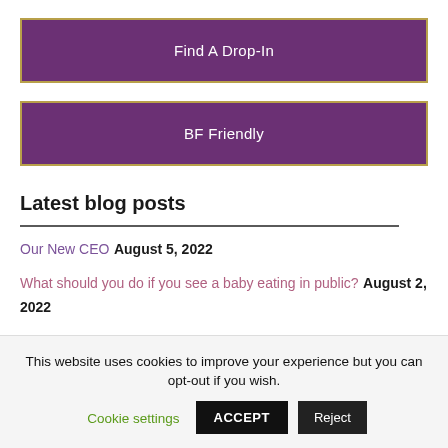Find A Drop-In
BF Friendly
Latest blog posts
Our New CEO August 5, 2022
What should you do if you see a baby eating in public? August 2, 2022
This website uses cookies to improve your experience but you can opt-out if you wish.
Cookie settings
ACCEPT
Reject